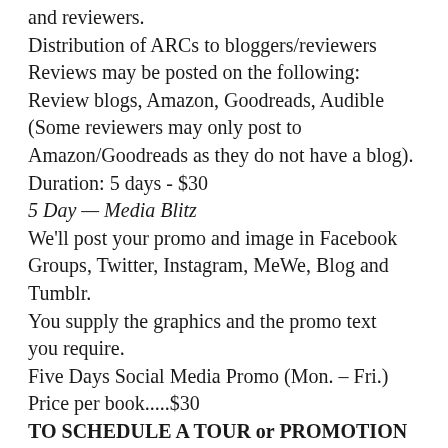and reviewers.
Distribution of ARCs to bloggers/reviewers
Reviews may be posted on the following:
Review blogs, Amazon, Goodreads, Audible
(Some reviewers may only post to Amazon/Goodreads as they do not have a blog).
Duration: 5 days - $30
5 Day — Media Blitz
We'll post your promo and image in Facebook Groups, Twitter, Instagram, MeWe, Blog and Tumblr.
You supply the graphics and the promo text you require.
Five Days Social Media Promo (Mon. – Fri.)
Price per book.....$30
TO SCHEDULE A TOUR or PROMOTION
Please complete the form below
OR CONTACT US VIA EMAIL FOR MORE